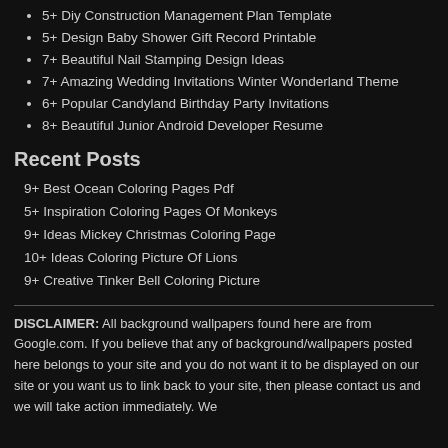5+ Diy Construction Management Plan Template
5+ Design Baby Shower Gift Record Printable
7+ Beautiful Nail Stamping Design Ideas
7+ Amazing Wedding Invitations Winter Wonderland Theme
6+ Popular Candyland Birthday Party Invitations
8+ Beautiful Junior Android Developer Resume
Recent Posts
9+ Best Ocean Coloring Pages Pdf
5+ Inspiration Coloring Pages Of Monkeys
9+ Ideas Mickey Christmas Coloring Page
10+ Ideas Coloring Picture Of Lions
9+ Creative Tinker Bell Coloring Picture
DISCLAIMER: All background wallpapers found here are from Google.com. If you believe that any of background/wallpapers posted here belongs to your site and you do not want it to be displayed on our site or you want us to link back to your site, then please contact us and we will take action immediately. We